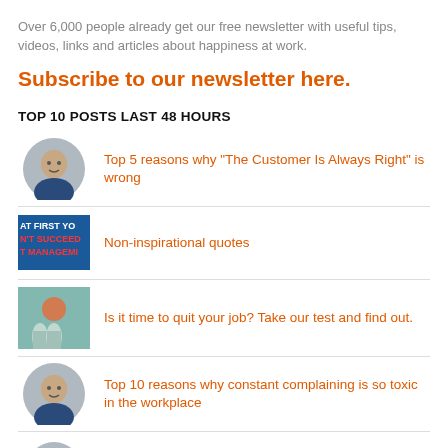Over 6,000 people already get our free newsletter with useful tips, videos, links and articles about happiness at work.
Subscribe to our newsletter here.
TOP 10 POSTS LAST 48 HOURS
Top 5 reasons why "The Customer Is Always Right" is wrong
Non-inspirational quotes
Is it time to quit your job? Take our test and find out.
Top 10 reasons why constant complaining is so toxic in the workplace
The movie "The Secret" is entirely fake